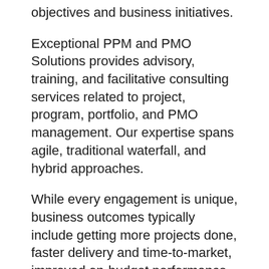objectives and business initiatives.
Exceptional PPM and PMO Solutions provides advisory, training, and facilitative consulting services related to project, program, portfolio, and PMO management. Our expertise spans agile, traditional waterfall, and hybrid approaches.
While every engagement is unique, business outcomes typically include getting more projects done, faster delivery and time-to-market, improved on-budget performance, better management of risks, improved customer and stakeholder satisfaction, more consistent realization of business results, and greater competitive advantage.
Exceptional PPM and PMO Solutions has a Delighted Client Guarantee. It's G...